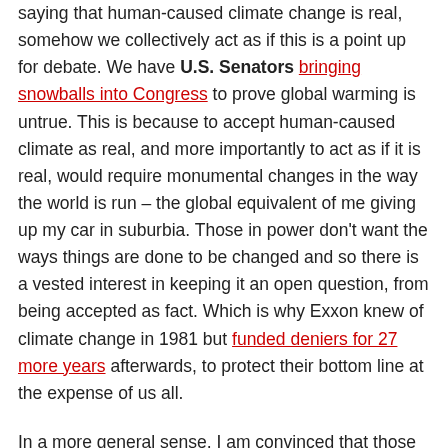saying that human-caused climate change is real, somehow we collectively act as if this is a point up for debate. We have U.S. Senators bringing snowballs into Congress to prove global warming is untrue. This is because to accept human-caused climate as real, and more importantly to act as if it is real, would require monumental changes in the way the world is run – the global equivalent of me giving up my car in suburbia. Those in power don't want the ways things are done to be changed and so there is a vested interest in keeping it an open question, from being accepted as fact. Which is why Exxon knew of climate change in 1981 but funded deniers for 27 more years afterwards, to protect their bottom line at the expense of us all.
In a more general sense, I am convinced that those in power lack the motivation to make the changes necessary to save our world from coming hardship. It is up to the each of us. So I encourage you to